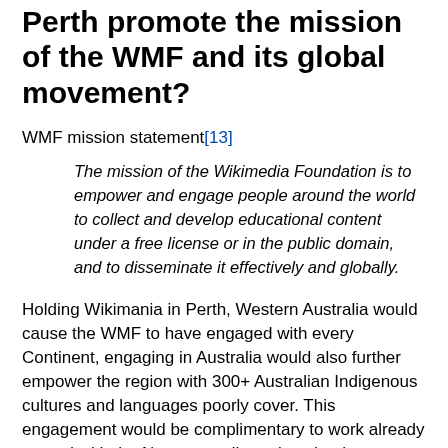Perth promote the mission of the WMF and its global movement?
WMF mission statement[13]
The mission of the Wikimedia Foundation is to empower and engage people around the world to collect and develop educational content under a free license or in the public domain, and to disseminate it effectively and globally.
Holding Wikimania in Perth, Western Australia would cause the WMF to have engaged with every Continent, engaging in Australia would also further empower the region with 300+ Australian Indigenous cultures and languages poorly cover. This engagement would be complimentary to work already started with the Noongarpedia project that has established Wikitonary and Wikipedia projects currently in the incubator stage, the first Indigenous Australian language